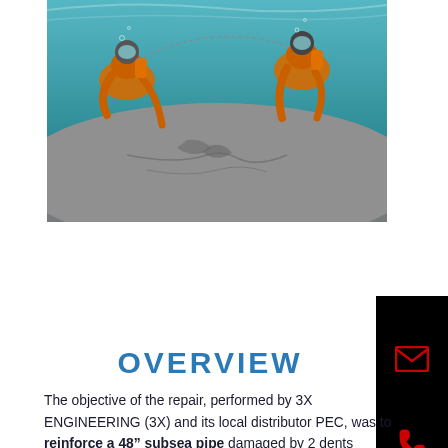[Figure (photo): Two divers in orange gear working underwater on a large submerged pipe or structure, with teal/turquoise water around them.]
[Figure (infographic): Black panel on the right side showing a red envelope icon and a red phone icon — contact widget.]
OVERVIEW
The objective of the repair, performed by 3X ENGINEERING (3X) and its local distributor PEC, was to reinforce a 48" subsea pipe damaged by 2 dents (between 7 and 10-meter